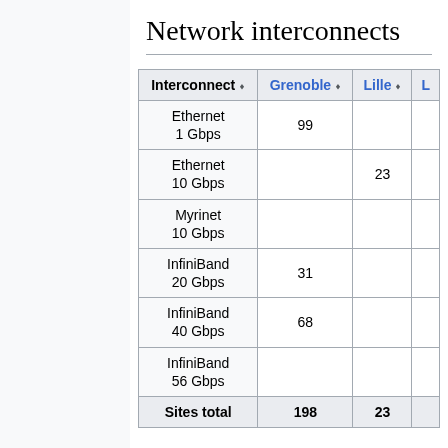Network interconnects
| Interconnect | Grenoble | Lille | L… |
| --- | --- | --- | --- |
| Ethernet 1 Gbps | 99 |  |  |
| Ethernet 10 Gbps |  | 23 |  |
| Myrinet 10 Gbps |  |  |  |
| InfiniBand 20 Gbps | 31 |  |  |
| InfiniBand 40 Gbps | 68 |  |  |
| InfiniBand 56 Gbps |  |  |  |
| Sites total | 198 | 23 |  |